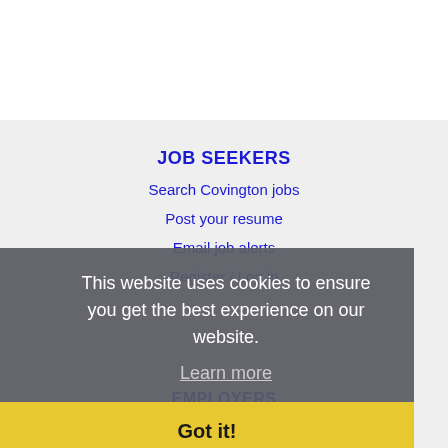JOB SEEKERS
Search Covington jobs
Post your resume
Email job alerts
Register / Log in
EMPLOYERS
Post jobs
Search resumes
Email resume alerts
Advertise
This website uses cookies to ensure you get the best experience on our website.
Learn more
Got it!